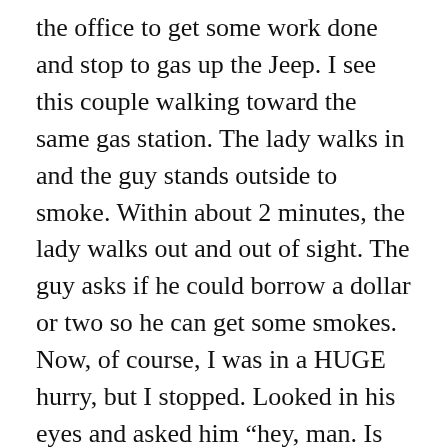the office to get some work done and stop to gas up the Jeep. I see this couple walking toward the same gas station. The lady walks in and the guy stands outside to smoke. Within about 2 minutes, the lady walks out and out of sight. The guy asks if he could borrow a dollar or two so he can get some smokes. Now, of course, I was in a HUGE hurry, but I stopped. Looked in his eyes and asked him “hey, man. Is there anything you need?” He reached in his pocket and grabbed a bunch of change (way more than needed for a pack of cigarettes that cost about $4). He mumbled about cigarettes and asked if I knew anyone needing their grass cut. I didn’t so I told him so. I paused for a minute and asked him what kind of smokes he